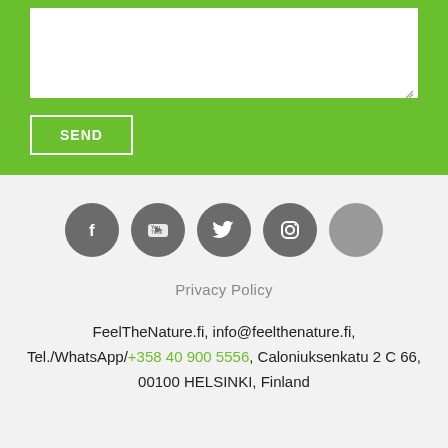[Figure (screenshot): Green contact form section with a white textarea input box and a SEND button with white border on green background]
[Figure (infographic): Footer section with five circular grey social media icons: Facebook, YouTube, Twitter, Instagram, and one additional icon]
Privacy Policy
FeelTheNature.fi, info@feelthenature.fi, Tel./WhatsApp/+358 40 900 5556, Caloniuksenkatu 2 C 66, 00100 HELSINKI, Finland